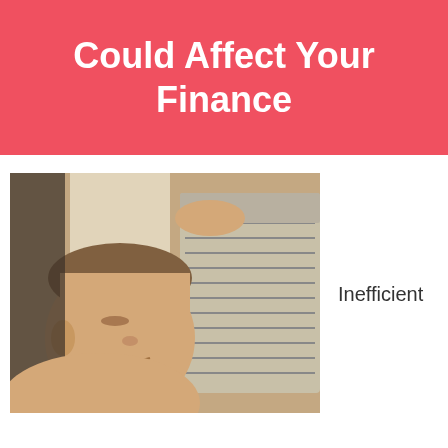Could Affect Your Finance
[Figure (photo): A person resting their face against a window air conditioning unit, appearing exhausted or overheated. The AC unit is a large beige/tan colored window air conditioner.]
Inefficient